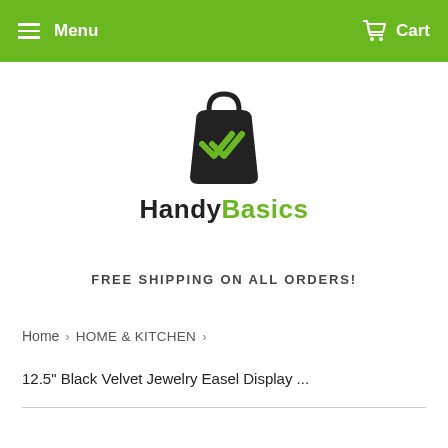Menu  Cart
[Figure (logo): HandyBasics shopping bag logo with green checkmark, above text HandyBasics]
FREE SHIPPING ON ALL ORDERS!
Home > HOME & KITCHEN >
12.5" Black Velvet Jewelry Easel Display ...